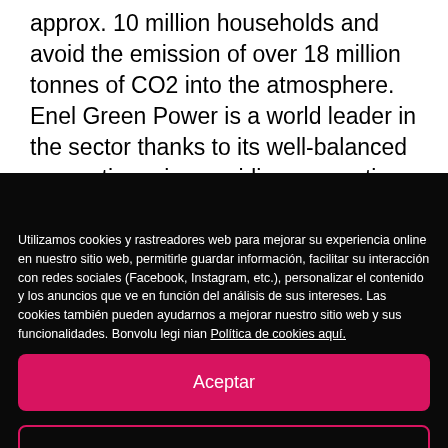approx. 10 million households and avoid the emission of over 18 million tonnes of CO2 into the atmosphere. Enel Green Power is a world leader in the sector thanks to its well-balanced generation mix, providing generation volumes well over the sector average. The company has an installed capacity of approximately 8,700 MW from a mix of
Utilizamos cookies y rastreadores web para mejorar su experiencia online en nuestro sitio web, permitirle guardar información, facilitar su interacción con redes sociales (Facebook, Instagram, etc.), personalizar el contenido y los anuncios que ve en función del análisis de sus intereses. Las cookies también pueden ayudarnos a mejorar nuestro sitio web y sus funcionalidades. Bonvolu legi nian Política de cookies aquí.
Aceptar
Configuración